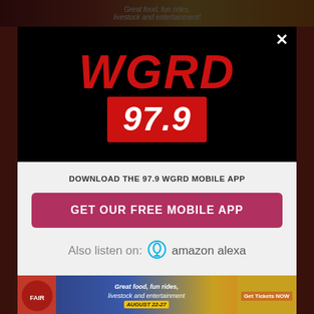[Figure (screenshot): WGRD 97.9 radio station mobile app download modal popup. Top half shows 'WGRD' in large red italic text and '97.9' in white on red background on black. Bottom half shows download prompt with button and Amazon Alexa listen option. Background shows blurred radio station website with fair advertisement banners.]
DOWNLOAD THE 97.9 WGRD MOBILE APP
GET OUR FREE MOBILE APP
Also listen on: amazon alexa